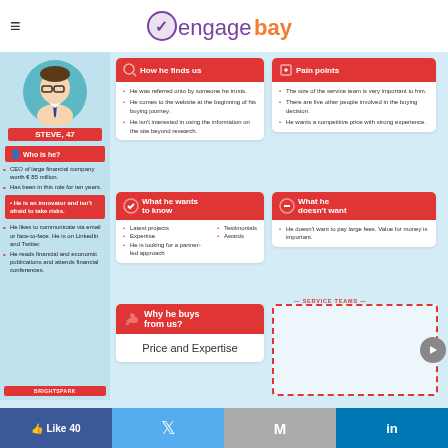[Figure (logo): EngageBay logo with purple 'engage' and orange 'bay' text and a checkmark icon]
[Figure (infographic): Customer persona infographic for STEVE, 47 - a CEO buyer persona showing how he finds the company, pain points, what he wants to know, what he doesn't want, and why he buys]
STEVE, 47
Who is he?
CEO of large financial company worth € 85 million.
Has been in this role for ten years.
He is an innovator and isn't afraid to take risks.
He likes to communicate via email or face-to-face. He is on LinkedIn and Twitter.
He reads financial and economic publications and attends financial conferences.
How he finds us
He was referred onto by someone he trusts.
He comes to the website at the beginning of his buying journey.
He isn't interested in using the information on the site beyond research.
Pain points
The size of the service team is very important to him.
There are five other people involved in the buying decision.
He wants a competitive price with strong experience.
What he wants to know
Latest projects
Expertise
He is looking for a partner-led approach
Testimonials
Awards
What he doesn't want
He doesn't want to pay large fees. Value for money is important.
Why he buys from us?
Price and Expertise
SERVICE TEAMS
BRIGHTSPARK